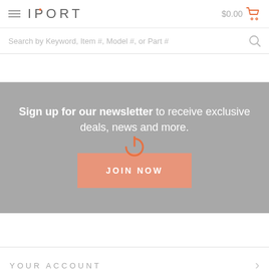IPORT $0.00
Search by Keyword, Item #, Model #, or Part #
Sign up for our newsletter to receive exclusive deals, news and more.
JOIN NOW
YOUR ACCOUNT
RESOURCES